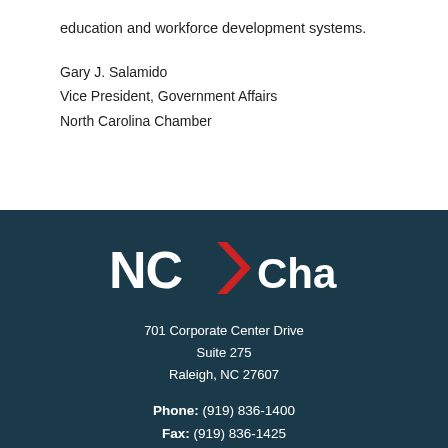education and workforce development systems.
Gary J. Salamido
Vice President, Government Affairs
North Carolina Chamber
[Figure (logo): NC Chamber logo with red arrow/chevron between 'NC' and 'Chamber' in white text on dark teal background]
701 Corporate Center Drive
Suite 275
Raleigh, NC 27607
Phone: (919) 836-1400
Fax: (919) 836-1425